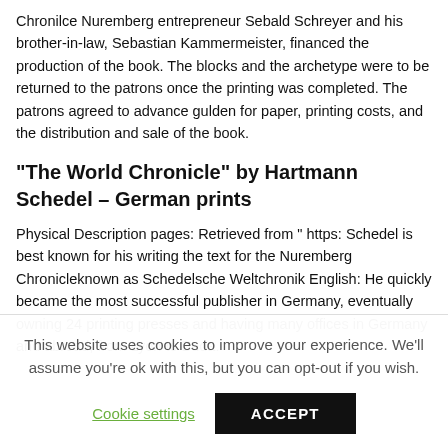Chronilce Nuremberg entrepreneur Sebald Schreyer and his brother-in-law, Sebastian Kammermeister, financed the production of the book. The blocks and the archetype were to be returned to the patrons once the printing was completed. The patrons agreed to advance gulden for paper, printing costs, and the distribution and sale of the book.
“The World Chronicle” by Hartmann Schedel – German prints
Physical Description pages: Retrieved from " https: Schedel is best known for his writing the text for the Nuremberg Chronicleknown as Schedelsche Weltchronik English: He quickly became the most successful publisher in Germany, eventually owning 24 printing presses and having many offices in Germany and abroad, from Lyon to Buda.
This website uses cookies to improve your experience. We'll assume you're ok with this, but you can opt-out if you wish.